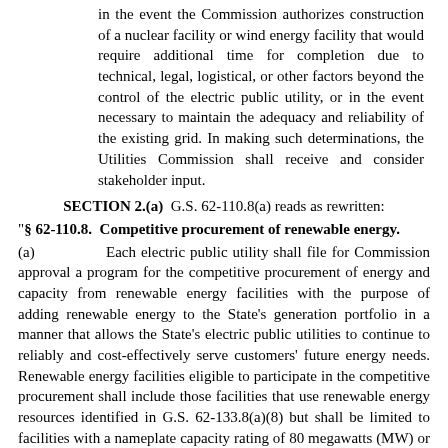in the event the Commission authorizes construction of a nuclear facility or wind energy facility that would require additional time for completion due to technical, legal, logistical, or other factors beyond the control of the electric public utility, or in the event necessary to maintain the adequacy and reliability of the existing grid. In making such determinations, the Utilities Commission shall receive and consider stakeholder input.
SECTION 2.(a)  G.S. 62-110.8(a) reads as rewritten:
"§ 62-110.8.  Competitive procurement of renewable energy.
(a)  Each electric public utility shall file for Commission approval a program for the competitive procurement of energy and capacity from renewable energy facilities with the purpose of adding renewable energy to the State's generation portfolio in a manner that allows the State's electric public utilities to continue to reliably and cost-effectively serve customers' future energy needs. Renewable energy facilities eligible to participate in the competitive procurement shall include those facilities that use renewable energy resources identified in G.S. 62-133.8(a)(8) but shall be limited to facilities with a nameplate capacity rating of 80 megawatts (MW) or less that are placed in service after the date of the electric public utility's initial competitive procurement. Subject to the limitations set forth in subsections (b) and (c) of this section,